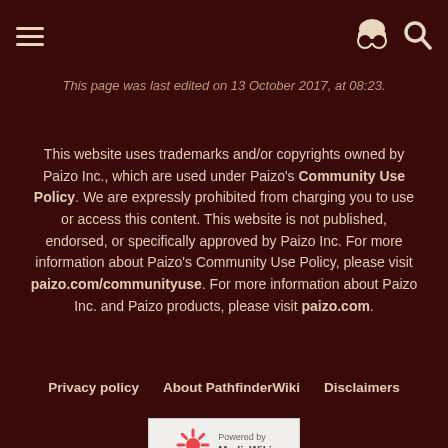This page was last edited on 13 October 2017, at 08:23.
This website uses trademarks and/or copyrights owned by Paizo Inc., which are used under Paizo's Community Use Policy. We are expressly prohibited from charging you to use or access this content. This website is not published, endorsed, or specifically approved by Paizo Inc. For more information about Paizo's Community Use Policy, please visit paizo.com/communityuse. For more information about Paizo Inc. and Paizo products, please visit paizo.com.
Privacy policy  About PathfinderWiki  Disclaimers
[Figure (logo): Powered by MediaWiki badge]
[Figure (logo): ENnies Gold 2012 award badge]